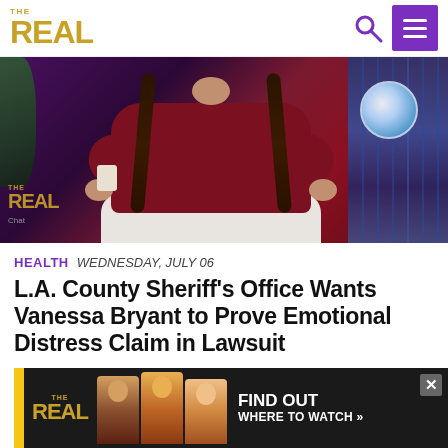THE REAL
[Figure (photo): Woman in dark red/maroon off-shoulder fuzzy sweater with two braids, seated, holding a cup, on a TV talk show set with blue and purple background. The REAL logo watermark visible in lower left of image.]
HEALTH  WEDNESDAY, JULY 06
L.A. County Sheriff’s Office Wants Vanessa Bryant to Prove Emotional Distress Claim in Lawsuit
Vanessa Bryant’s lawsuit against the Los Angeles County Sheriff’s Office continues to get uglier by the moment. This time, they’re requesting her mental health records to prove she suffered emotional distress after photos of her late husban... distribu...
[Figure (advertisement): The Real show advertisement banner with logo, cast members photos, and 'FIND OUT WHERE TO WATCH' call to action on dark background with yellow accent bar.]